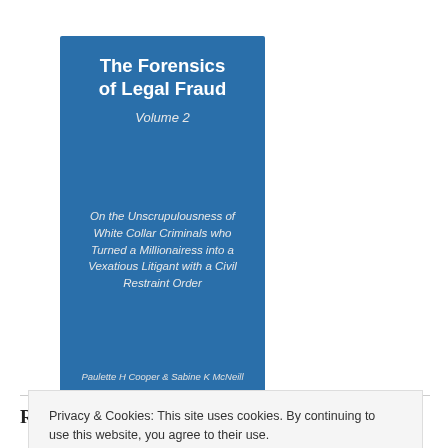[Figure (illustration): Book cover for 'The Forensics of Legal Fraud Volume 2' by Paulette H Cooper & Sabine K McNeill, blue background with white text, subtitle: On the Unscrupulousness of White Collar Criminals who Turned a Millionairess into a Vexatious Litigant with a Civil Restraint Order]
Recent Posts
Privacy & Cookies: This site uses cookies. By continuing to use this website, you agree to their use.
To find out more, including how to control cookies, see here: Cookie Policy
Close and accept